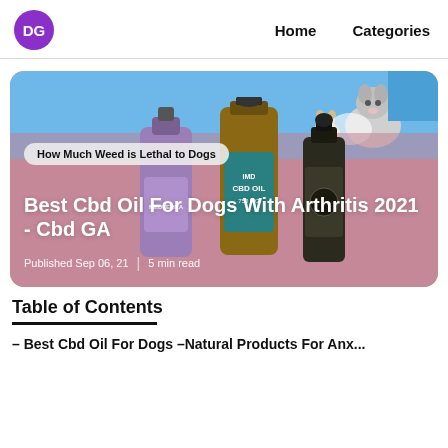DG  Home  Categories
[Figure (photo): Article hero card with CBD oil bottles for dogs, husky dog and cat in top background, pink/mauve gradient overlay, tag reading 'How Much Weed is Lethal to Dogs', title 'Best Cbd Oil For Dogs With Arthritis 2021 - Cbd GA', published Sep 06, 21, 5 min read]
Table of Contents
– Best Cbd Oil For Dogs –Natural Products For Anx...